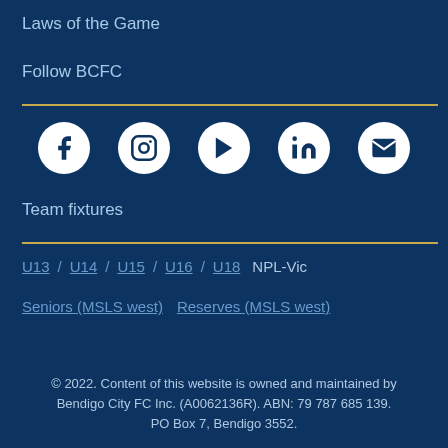Laws of the Game
Follow BCFC
[Figure (infographic): Row of social media icons: Facebook, Instagram, YouTube, LinkedIn, Email (envelope) — all white icons in white circles on dark blue background]
Team fixtures
U13  /  U14  /  U15  /  U16  /  U18  NPL-Vic
Seniors (MSLS west)  Reserves (MSLS west)
© 2022. Content of this website is owned and maintained by Bendigo City FC Inc. (A0062136R). ABN: 79 787 685 139. PO Box 7, Bendigo 3552.